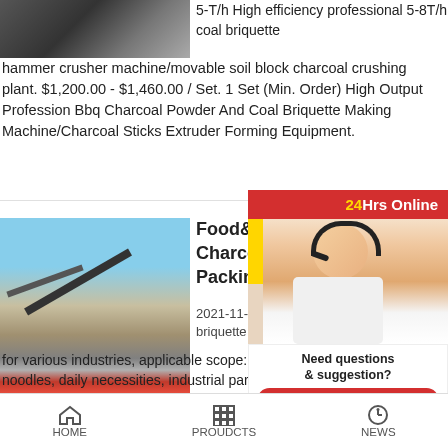[Figure (photo): Partial view of industrial machinery/equipment at top left]
5-T/h coal briquette professional 5-8T/h coal briquette hammer crusher machine/movable soil block charcoal crushing plant. $1,200.00 - $1,460.00 / Set. 1 Set (Min. Order) High Output Profession Bbq Charcoal Powder And Coal Briquette Making Machine/Charcoal Sticks Extruder Forming Equipment.
[Figure (photo): Industrial crushing/mining equipment with conveyor belt and red machinery outdoors]
Food& Charcoal Briq Packing Mach
2021-11-1 · Food briquette packing m for various industries, applicable scope: biscuits, noodles, daily necessities, industrial parts, carton...
[Figure (infographic): 24Hrs Online chat widget with customer service representative photo, 'Need questions & suggestion?' text, Chat Now button, Enquiry link, and limingjlmofen footer]
HOME    PROUDCTS    NEWS